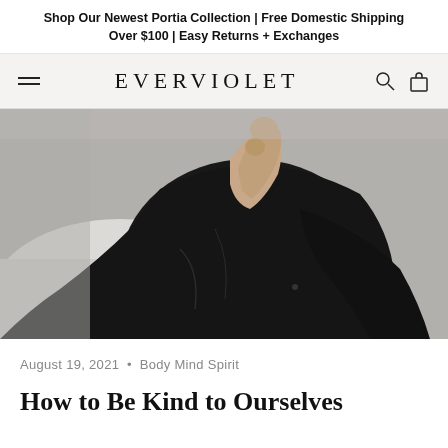Shop Our Newest Portia Collection | Free Domestic Shipping Over $100 | Easy Returns + Exchanges
EVERVIOLET
[Figure (photo): A person wearing a dark black garment seated in a white chair, photographed from the neck down, with one hand raised to their chin in a contemplative pose. The image is in muted, moody tones.]
August 19, 2021  •  Body Mind Spirit
How to Be Kind to Ourselves